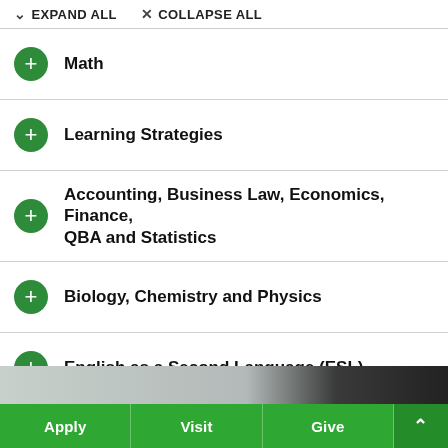EXPAND ALL   COLLAPSE ALL
Math
Learning Strategies
Accounting, Business Law, Economics, Finance, QBA and Statistics
Biology, Chemistry and Physics
English as a Second Language (ESL)
Other Areas
[Figure (photo): Photo strip at bottom of page showing outdoor scene and dark fabric]
Apply   Visit   Give